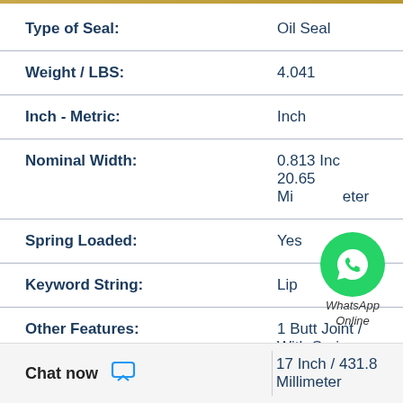| Property | Value |
| --- | --- |
| Type of Seal: | Oil Seal |
| Weight / LBS: | 4.041 |
| Inch - Metric: | Inch |
| Nominal Width: | 0.813 Inch
20.65 Millimeter |
| Spring Loaded: | Yes |
| Keyword String: | Lip |
| Other Features: | 1 Butt Joint / With Spring Lock |
Chat now
17 Inch / 431.8 Millimeter